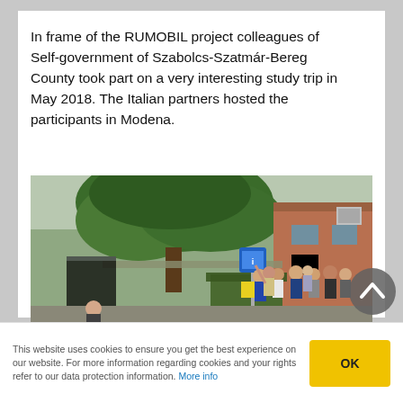In frame of the RUMOBIL project colleagues of Self-government of Szabolcs-Szatmár-Bereg County took part on a very interesting study trip in May 2018. The Italian partners hosted the participants in Modena.
[Figure (photo): Group of people standing outdoors near a bus stop sign, under a large tree, beside a brick building. The scene appears to be in Modena, Italy during the RUMOBIL study trip in May 2018.]
This website uses cookies to ensure you get the best experience on our website. For more information regarding cookies and your rights refer to our data protection information. More info